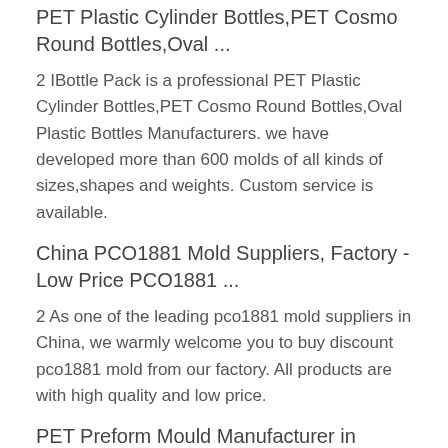PET Plastic Cylinder Bottles,PET Cosmo Round Bottles,Oval ...
2 IBottle Pack is a professional PET Plastic Cylinder Bottles,PET Cosmo Round Bottles,Oval Plastic Bottles Manufacturers. we have developed more than 600 molds of all kinds of sizes,shapes and weights. Custom service is available.
China PCO1881 Mold Suppliers, Factory - Low Price PCO1881 ...
2 As one of the leading pco1881 mold suppliers in China, we warmly welcome you to buy discount pco1881 mold from our factory. All products are with high quality and low price.
PET Preform Mould Manufacturer in China Over 15 Years
2 Beside PET bottle blowing machine, Sinco is also specialized in PET Preform mould. As the leading